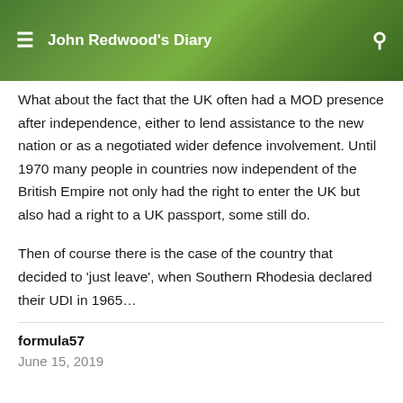John Redwood's Diary
What about the fact that the UK often had a MOD presence after independence, either to lend assistance to the new nation or as a negotiated wider defence involvement. Until 1970 many people in countries now independent of the British Empire not only had the right to enter the UK but also had a right to a UK passport, some still do.
Then of course there is the case of the country that decided to 'just leave', when Southern Rhodesia declared their UDI in 1965…
formula57
June 15, 2019